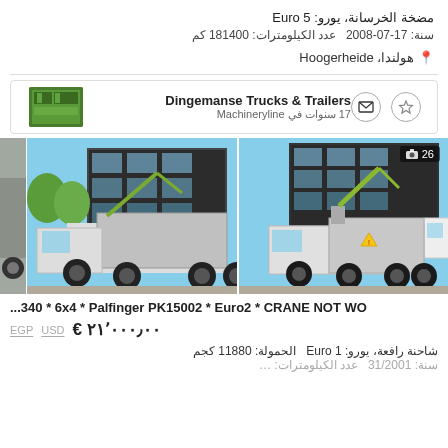مضخة الخرسانة، يورو: Euro 5
سنة: 2008-07-17  عدد الكيلومترات: 181400 كم
📍 هولندا، Hoogerheide
Dingemanse Trucks & Trailers
17 سنوات في Machineryline
[Figure (photo): Two photos of a white dump truck with crane (Palfinger) parked in a yard, rear/side views, building in background]
...340 * 6x4 * Palfinger PK15002 * Euro2 * CRANE NOT WO
EGP  USD  € ٢١٬٠٠٠٫٠٠
شاحنة رافعة، يورو: Euro 1  الحمولة: 11880 كجم